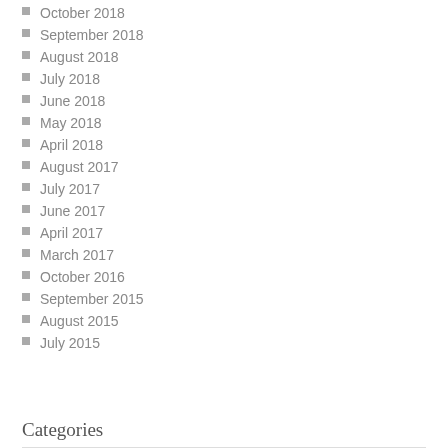October 2018
September 2018
August 2018
July 2018
June 2018
May 2018
April 2018
August 2017
July 2017
June 2017
April 2017
March 2017
October 2016
September 2015
August 2015
July 2015
Categories